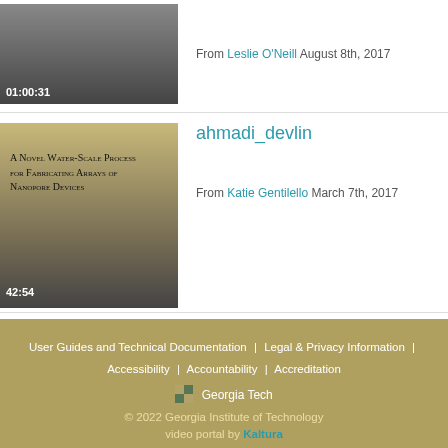[Figure (screenshot): Video thumbnail with dark gradient and duration timestamp 01:00:31]
From Leslie O'Neill August 8th, 2017
[Figure (screenshot): Video thumbnail for 'A Novel Water-Scale Process for Fabricating Arrays of Nanopore Devices', duration 42:54]
ahmadi_devlin
From Katie Gentilello March 7th, 2017
Load More
User Guides and Technical Documentation | Legal & Privacy Information | Accessibility | Accountability | Accreditation Georgia Tech © 2022 Georgia Institute of Technology video portal by Kaltura